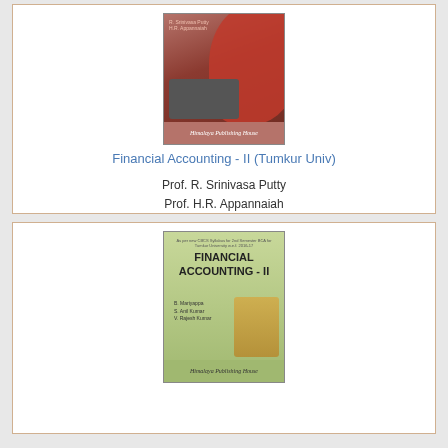[Figure (photo): Book cover of Financial Accounting - II (Tumkur Univ) by R. Srinivasa Putty and H.R. Appannaiah, published by Himalaya Publishing House. Red and brown cover with keyboard image.]
Financial Accounting - II (Tumkur Univ)
Prof. R. Srinivasa Putty
Prof. H.R. Appannaiah
[Figure (photo): Book cover of Financial Accounting - II by B. Mariyappa, S. Anil Kumar, V. Rajesh Kumar, published by Himalaya Publishing House. Green cover with stacked coins image.]